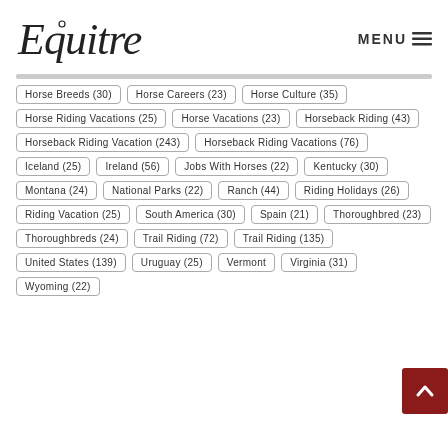[Figure (logo): Equitrekking logo in italic serif font]
MENU ≡
Horse Breeds (30)
Horse Careers (23)
Horse Culture (35)
Horse Riding Vacations (25)
Horse Vacations (23)
Horseback Riding (43)
Horseback Riding Vacation (243)
Horseback Riding Vacations (76)
Iceland (25)
Ireland (56)
Jobs With Horses (22)
Kentucky (30)
Montana (24)
National Parks (22)
Ranch (44)
Riding Holidays (26)
Riding Vacation (25)
South America (30)
Spain (21)
Thoroughbred (23)
Thoroughbreds (24)
Trail Riding (72)
Trail Riding (135)
United States (139)
Uruguay (25)
Vermont
Virginia (31)
Wyoming (22)